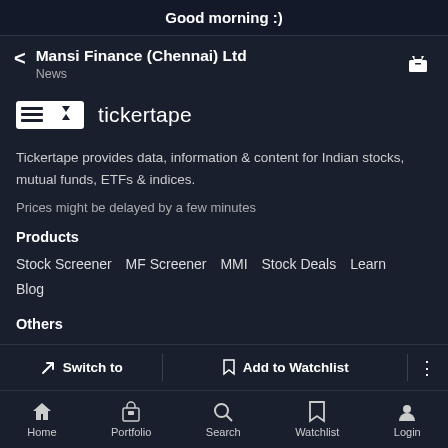Good morning :)
Mansi Finance (Chennai) Ltd
News
[Figure (logo): Tickertape logo with horizontal lines and triangle icon followed by text 'tickertape']
Tickertape provides data, information & content for Indian stocks, mutual funds, ETFs & indices.
Prices might be delayed by a few minutes
Products
Stock Screener  MF Screener  MMI  Stock Deals  Learn  Blog
Others
Pricing  Cancellation Policy  Terms  Privacy  Disclaimers
Switch to   Add to Watchlist   Home   Portfolio   Search   Watchlist   Login